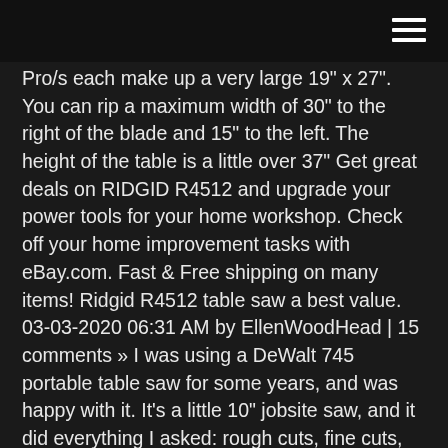Pro/s each make up a very large 19" x 27". You can rip a maximum width of 30" to the right of the blade and 15" to the left. The height of the table is a little over 37" Get great deals on RIDGID R4512 and upgrade your power tools for your home workshop. Check off your home improvement tasks with eBay.com. Fast & Free shipping on many items! Ridgid R4512 table saw a best value. 03-03-2020 06:31 AM by EllenWoodHead | 15 comments » I was using a DeWalt 745 portable table saw for some years, and was happy with it. It's a little 10" jobsite saw, and it did everything I asked: rough cuts, fine cuts, bevel cuts. It cuts fast and clean, and I love the rack-and-pinion fence. Ridgid R4512 « back to Power Tools, Hardware and Accessories forum. Forum topic by TGO1216: posted 02-13-2017 02:09 PM: 1969 views: 0